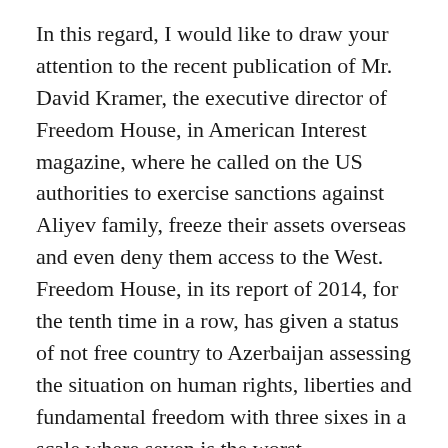In this regard, I would like to draw your attention to the recent publication of Mr. David Kramer, the executive director of Freedom House, in American Interest magazine, where he called on the US authorities to exercise sanctions against Aliyev family, freeze their assets overseas and even deny them access to the West. Freedom House, in its report of 2014, for the tenth time in a row, has given a status of not free country to Azerbaijan assessing the situation on human rights, liberties and fundamental freedom with three sixes in a scale where seven is the worst.
Dear colleagues, I am confident that just, sustainable and lasting solution to a conflict is possible when the parties come to reconciliation.